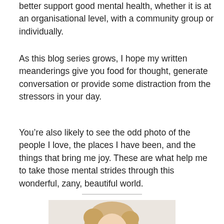better support good mental health, whether it is at an organisational level, with a community group or individually.
As this blog series grows, I hope my written meanderings give you food for thought, generate conversation or provide some distraction from the stressors in your day.
You’re also likely to see the odd photo of the people I love, the places I have been, and the things that bring me joy. These are what help me to take those mental strides through this wonderful, zany, beautiful world.
[Figure (photo): Partial photo of a person with blonde hair, cropped at the bottom of the page, against a light background.]